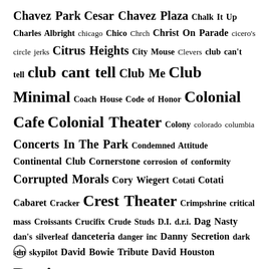Chavez Park Cesar Chavez Plaza Chalk It Up Charles Albright chicago Chico Chrch Christ On Parade cicero's circle jerks Citrus Heights City Mouse Clevers club can't tell club cant tell Club Me Club Minimal Coach House Code of Honor Colonial Cafe Colonial Theater Colony colorado columbia Concerts In The Park Condemned Attitude Continental Club Cornerstone corrosion of conformity Corrupted Morals Cory Wiegert Cotati Cotati Cabaret Cracker Crest Theater Crimpshrine critical mass Croissants Crucifix Crude Studs D.I. d.r.i. Dag Nasty dan's silverleaf danceteria danger inc Danny Secretion dark sun skypilot David Bowie Tribute David Houston Davis davis ca Davis Community Park Dead Dads Dead Kennedys Dead Pledge Deftones Demo den of sin denton Desario Destroy Boys Dickies Dimple Records Dinosaur Jr. discovery park Distillery Dr. Frank Dr. Know Drop Dead Red Drug Apts Earwigs Econochrist El Dorado Saloon Elk Grove empire events center england Entertainment Factory Eric McFadden Trio eugene Everything Sucks Fest Eyesore...